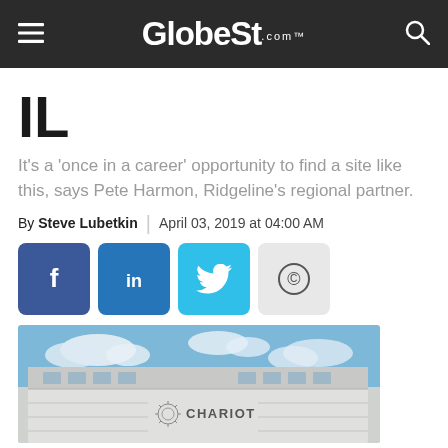GlobeSt.com™
IL
It's a 'once in a career' opportunity to find a site like this, says Pete Harmon, Ridgeline's regional partner.
By Steve Lubetkin | April 03, 2019 at 04:00 AM
[Figure (other): Social sharing buttons: Facebook, LinkedIn, Twitter, Copyright/Copy link]
[Figure (photo): Exterior photo of a modern commercial/industrial building with Chariot logo, blue sky with clouds in background]